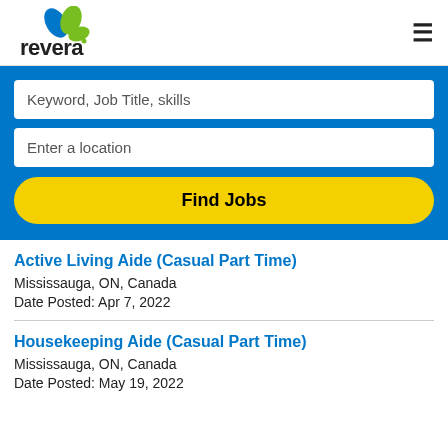[Figure (logo): Revera logo with stylized leaf/plant icon in blue and green above the text 'revera']
Keyword, Job Title, skills
Enter a location
Find Jobs
Active Living Aide (Casual Part Time)
Mississauga, ON, Canada
Date Posted: Apr 7, 2022
Housekeeping Aide (Casual Part Time)
Mississauga, ON, Canada
Date Posted: May 19, 2022